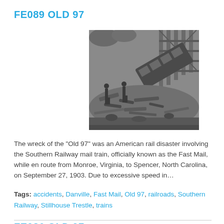FE089 OLD 97
[Figure (photo): Black and white historical photograph of a train wreck, showing derailed train cars, debris, and workers at the scene of the Old 97 disaster, with a trestle bridge visible in the background.]
The wreck of the "Old 97" was an American rail disaster involving the Southern Railway mail train, officially known as the Fast Mail, while en route from Monroe, Virginia, to Spencer, North Carolina, on September 27, 1903. Due to excessive speed in…
Tags: accidents, Danville, Fast Mail, Old 97, railroads, Southern Railway, Stillhouse Trestle, trains
FE086 OLD 97